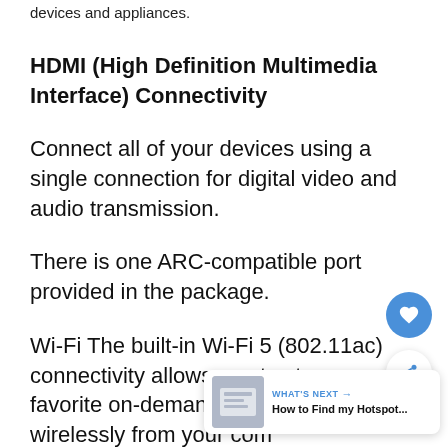devices and appliances.
HDMI (High Definition Multimedia Interface) Connectivity
Connect all of your devices using a single connection for digital video and audio transmission.
There is one ARC-compatible port provided in the package.
Wi-Fi The built-in Wi-Fi 5 (802.11ac) connectivity allows you to stream your favorite on-demand entertainment wirelessly from your com...